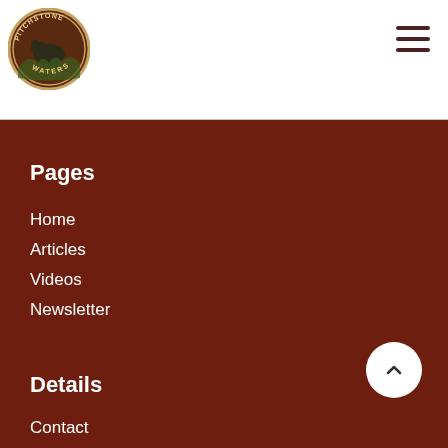[Figure (logo): Pitchstone Waters circular logo with bison illustration]
Pages
Home
Articles
Videos
Newsletter
Details
Contact